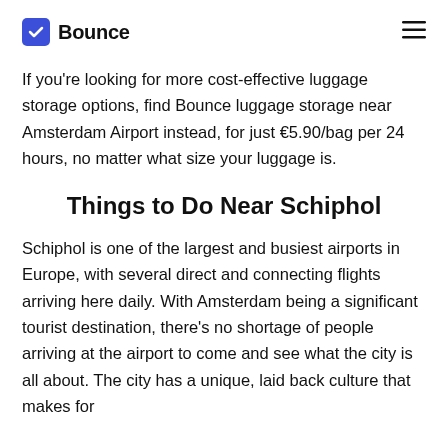Bounce
If you're looking for more cost-effective luggage storage options, find Bounce luggage storage near Amsterdam Airport instead, for just €5.90/bag per 24 hours, no matter what size your luggage is.
Things to Do Near Schiphol
Schiphol is one of the largest and busiest airports in Europe, with several direct and connecting flights arriving here daily. With Amsterdam being a significant tourist destination, there's no shortage of people arriving at the airport to come and see what the city is all about. The city has a unique, laid back culture that makes for